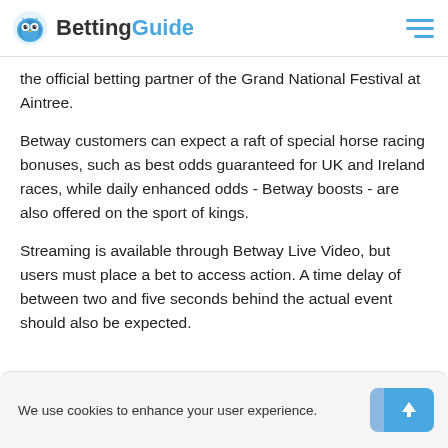BettingGuide
the official betting partner of the Grand National Festival at Aintree.
Betway customers can expect a raft of special horse racing bonuses, such as best odds guaranteed for UK and Ireland races, while daily enhanced odds - Betway boosts - are also offered on the sport of kings.
Streaming is available through Betway Live Video, but users must place a bet to access action. A time delay of between two and five seconds behind the actual event should also be expected.
We use cookies to enhance your user experience.